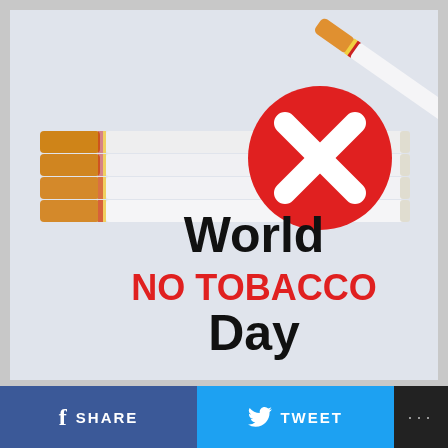[Figure (illustration): Illustration of several cigarettes lying horizontally with a red circle containing a white X mark (no symbol) overlaid on them, and a single cigarette standing diagonally across them. Text reads 'World NO TOBACCO Day' in bold black and red lettering on a light background.]
SHARE
TWEET